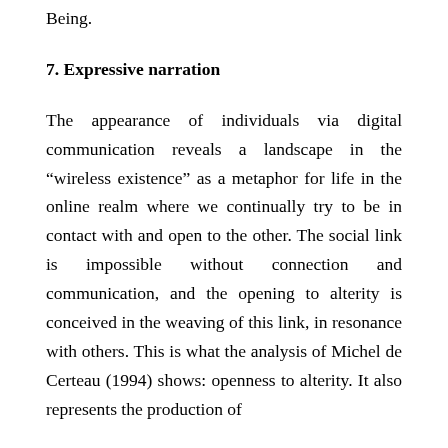Being.
7. Expressive narration
The appearance of individuals via digital communication reveals a landscape in the “wireless existence” as a metaphor for life in the online realm where we continually try to be in contact with and open to the other. The social link is impossible without connection and communication, and the opening to alterity is conceived in the weaving of this link, in resonance with others. This is what the analysis of Michel de Certeau (1994) shows: openness to alterity. It also represents the production of